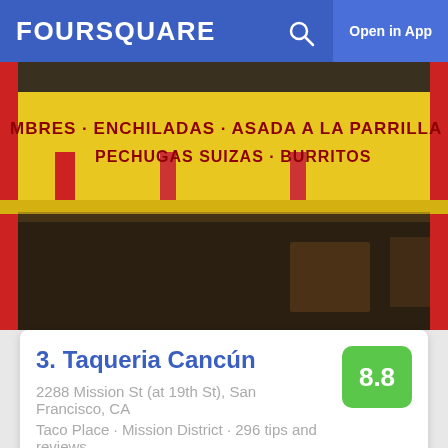FOURSQUARE  Open in App
[Figure (photo): Photo of Taqueria Cancun storefront with yellow facade showing text: MBRES · ENCHILADAS · ASADA A LA PARRILLA · PECHUGAS SUIZAS · BURRITOS]
3. Taqueria Cancún
2288 Mission St (at 19th St), San Francisco, CA
Taco Place · Mission District · 296 tips and reviews
[Figure (photo): Close-up photo of a mocha or hot chocolate drink in a dark cup with white cream and dark chocolate sauce drizzled on top]